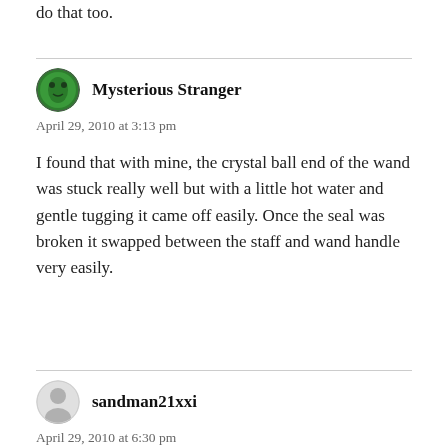do that too.
Mysterious Stranger
April 29, 2010 at 3:13 pm

I found that with mine, the crystal ball end of the wand was stuck really well but with a little hot water and gentle tugging it came off easily. Once the seal was broken it swapped between the staff and wand handle very easily.
sandman21xxi
April 29, 2010 at 6:30 pm